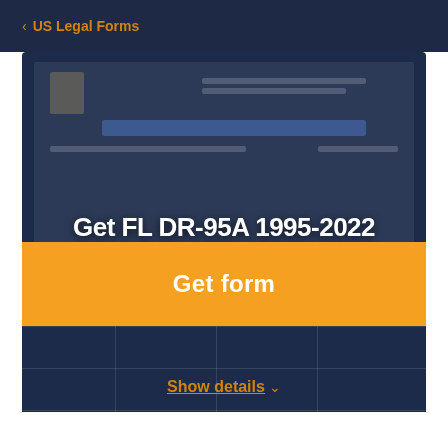< US Legal Forms
Get FL DR-95A 1995-2022
Get form
Show details ▾